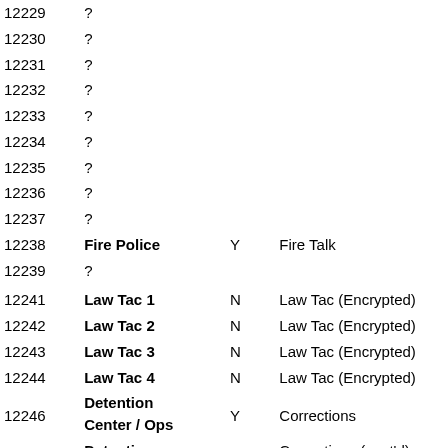| ID | Name | Y/N | Description |
| --- | --- | --- | --- |
| 12229 | ? |  |  |
| 12230 | ? |  |  |
| 12231 | ? |  |  |
| 12232 | ? |  |  |
| 12233 | ? |  |  |
| 12234 | ? |  |  |
| 12235 | ? |  |  |
| 12236 | ? |  |  |
| 12237 | ? |  |  |
| 12238 | Fire Police | Y | Fire Talk |
| 12239 | ? |  |  |
| 12241 | Law Tac 1 | N | Law Tac (Encrypted) |
| 12242 | Law Tac 2 | N | Law Tac (Encrypted) |
| 12243 | Law Tac 3 | N | Law Tac (Encrypted) |
| 12244 | Law Tac 4 | N | Law Tac (Encrypted) |
| 12246 | Detention Center / Ops | Y | Corrections |
|  | Detention |  | Corrections (cont'd) |